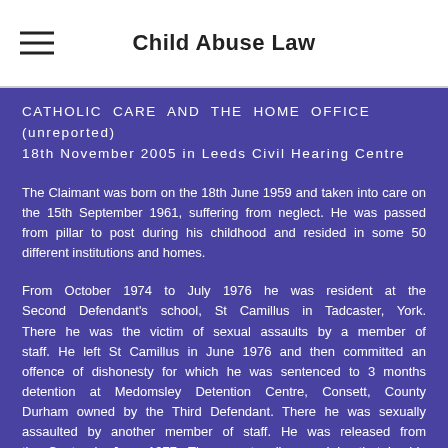Child Abuse Law
CATHOLIC CARE AND THE HOME OFFICE (unreported) 18th November 2005 in Leeds Civil Hearing Centre
The Claimant was born on the 18th June 1959 and taken into care on the 15th September 1961, suffering from neglect. He was passed from pillar to post during his childhood and resided in some 50 different institutions and homes.
From October 1974 to July 1976 he was resident at the Second Defendant's school, St Camillus in Tadcaster, York. There he was the victim of sexual assaults by a member of staff. He left St Camillus in June 1976 and then committed an offence of dishonesty for which he was sentenced to 3 months detention at Medomsley Detention Centre, Consett, County Durham owned by the Third Defendant. There he was sexually assaulted by another member of staff. He was released from the Centre in June 1977. The experts all agreed by that by his own account, the Claimant had suffered post traumatic stress